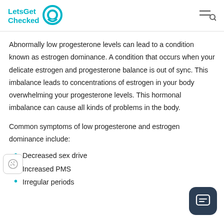LetsGet Checked
Abnormally low progesterone levels can lead to a condition known as estrogen dominance. A condition that occurs when your delicate estrogen and progesterone balance is out of sync. This imbalance leads to concentrations of estrogen in your body overwhelming your progesterone levels. This hormonal imbalance can cause all kinds of problems in the body.
Common symptoms of low progesterone and estrogen dominance include:
Decreased sex drive
Increased PMS
Irregular periods